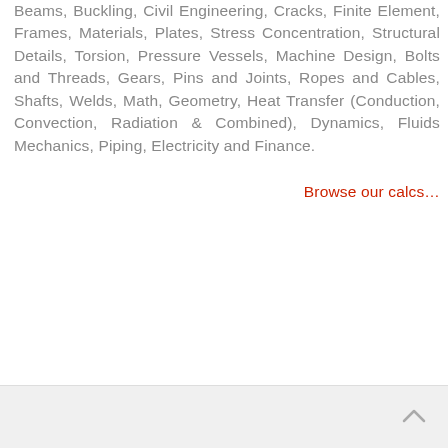Beams, Buckling, Civil Engineering, Cracks, Finite Element, Frames, Materials, Plates, Stress Concentration, Structural Details, Torsion, Pressure Vessels, Machine Design, Bolts and Threads, Gears, Pins and Joints, Ropes and Cables, Shafts, Welds, Math, Geometry, Heat Transfer (Conduction, Convection, Radiation & Combined), Dynamics, Fluids Mechanics, Piping, Electricity and Finance.
Browse our calcs…